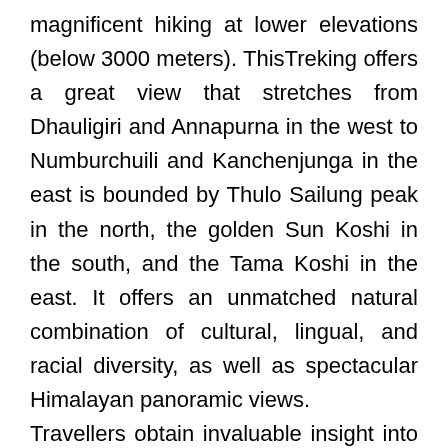magnificent hiking at lower elevations (below 3000 meters). ThisTreking offers a great view that stretches from Dhauligiri and Annapurna in the west to Numburchuili and Kanchenjunga in the east is bounded by Thulo Sailung peak in the north, the golden Sun Koshi in the south, and the Tama Koshi in the east. It offers an unmatched natural combination of cultural, lingual, and racial diversity, as well as spectacular Himalayan panoramic views.
Travellers obtain invaluable insight into the culture and livelihood of numerous local Native Peoples, such as Tamang, Newars, Sherpas, Thames, and M[scroll button] are some of the people who live in the area.